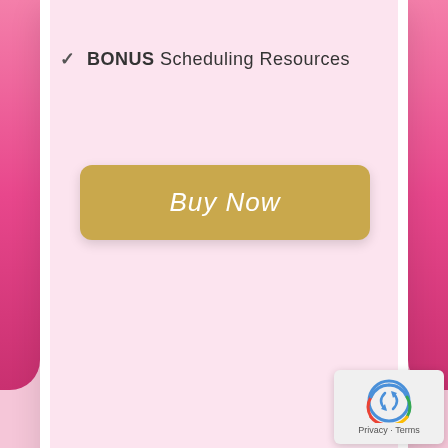✓ BONUS Scheduling Resources
[Figure (other): Buy Now button in golden/yellow color with rounded corners]
[Figure (other): reCAPTCHA badge with Google reCAPTCHA logo and Privacy - Terms text]